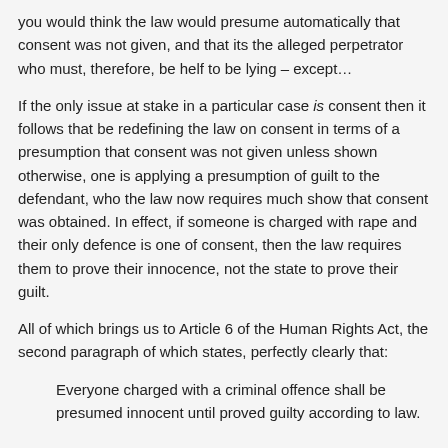you would think the law would presume automatically that consent was not given, and that its the alleged perpetrator who must, therefore, be helf to be lying – except…
If the only issue at stake in a particular case is consent then it follows that be redefining the law on consent in terms of a presumption that consent was not given unless shown otherwise, one is applying a presumption of guilt to the defendant, who the law now requires much show that consent was obtained. In effect, if someone is charged with rape and their only defence is one of consent, then the law requires them to prove their innocence, not the state to prove their guilt.
All of which brings us to Article 6 of the Human Rights Act, the second paragraph of which states, perfectly clearly that:
Everyone charged with a criminal offence shall be presumed innocent until proved guilty according to law.